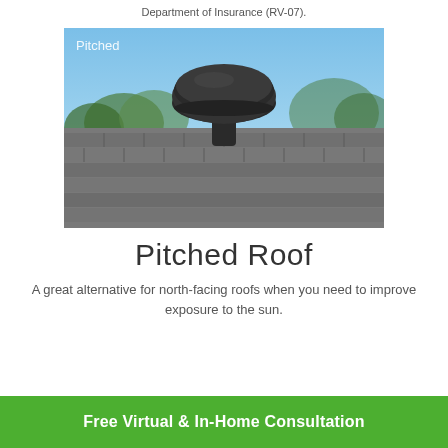Department of Insurance (RV-07).
[Figure (photo): A black circular solar attic fan mounted on a pitched shingle roof with blue sky and trees in background. Label 'Pitched' appears in white text in the upper left corner of the photo.]
Pitched Roof
A great alternative for north-facing roofs when you need to improve exposure to the sun.
Free Virtual & In-Home Consultation